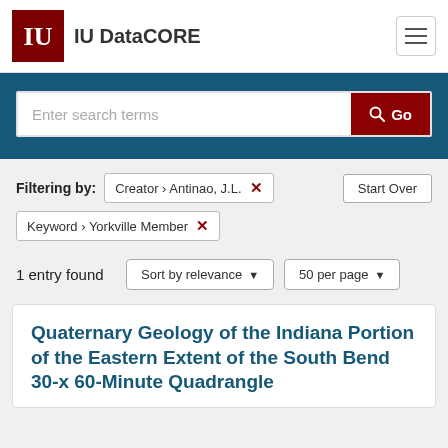IU DataCORE
Enter search terms  Go
Filtering by: Creator › Antinao, J.L. [x]   Start Over
Keyword › Yorkville Member [x]
1 entry found   Sort by relevance ▼   50 per page ▼
Quaternary Geology of the Indiana Portion of the Eastern Extent of the South Bend 30-x 60-Minute Quadrangle